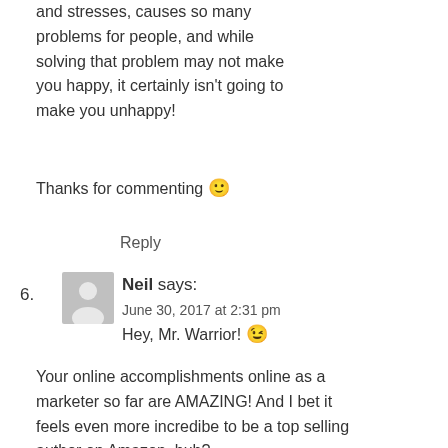and stresses, causes so many problems for people, and while solving that problem may not make you happy, it certainly isn't going to make you unhappy!
Thanks for commenting 🙂
Reply
Neil says:
June 30, 2017 at 2:31 pm
Hey, Mr. Warrior! 😉
Your online accomplishments online as a marketer so far are AMAZING! And I bet it feels even more incredibe to be a top selling author on Amazon, huh?